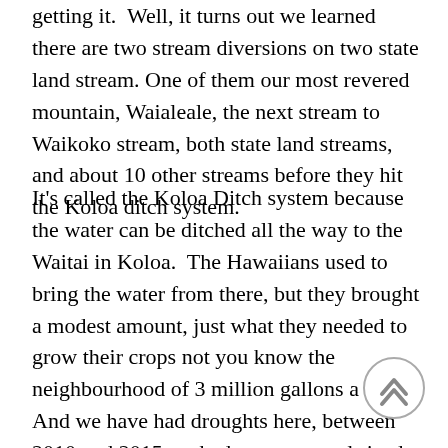getting it. Well, it turns out we learned there are two stream diversions on two state land stream. One of them our most revered mountain, Waialeale, the next stream to Waikoko stream, both state land streams, and about 10 other streams before they hit the Koloa ditch system.
It's called the Koloa Ditch system because the water can be ditched all the way to the Waitai in Koloa. The Hawaiians used to bring the water from there, but they brought a modest amount, just what they needed to grow their crops not you know the neighbourhood of 3 million gallons a day. And we have had droughts here, between 2010 and 2015 we had a pretty good sized drought and I know of the Frias's and Willie sanchez, both cattle ranchers on island, received federal funds because they lost so much of their grazing land and the grasses because of our drought. It